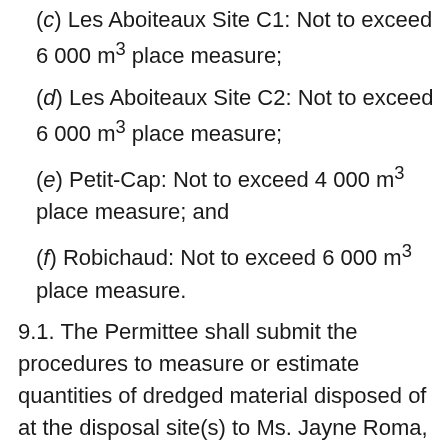(c) Les Aboiteaux Site C1: Not to exceed 6 000 m³ place measure;
(d) Les Aboiteaux Site C2: Not to exceed 6 000 m³ place measure;
(e) Petit-Cap: Not to exceed 4 000 m³ place measure; and
(f) Robichaud: Not to exceed 6 000 m³ place measure.
9.1. The Permittee shall submit the procedures to measure or estimate quantities of dredged material disposed of at the disposal site(s) to Ms. Jayne Roma, Environmental Protection Operations